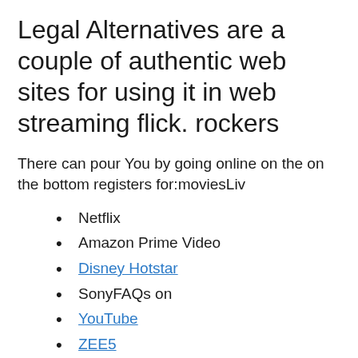Legal Alternatives are a couple of authentic web sites for using it in web streaming flick. rockers
There can pour You by going online on the on the bottom registers for:moviesLiv
Netflix
Amazon Prime Video
Disney Hotstar
SonyFAQs on
YouTube
ZEE5
Large Flix
Popcornflix